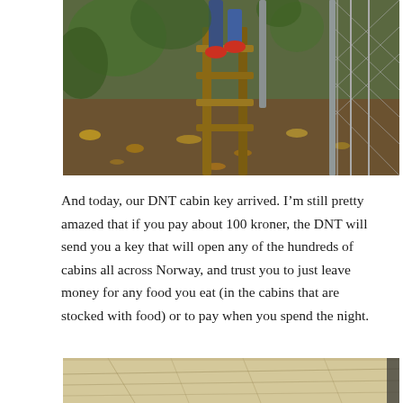[Figure (photo): Person standing on a wooden ladder/stile in a garden or outdoor area with green vines, fallen leaves, and a chain-link fence visible on the right. The person is wearing blue jeans and red shoes.]
And today, our DNT cabin key arrived. I’m still pretty amazed that if you pay about 100 kroner, the DNT will send you a key that will open any of the hundreds of cabins all across Norway, and trust you to just leave money for any food you eat (in the cabins that are stocked with food) or to pay when you spend the night.
[Figure (photo): Partial view of an old map, showing terrain lines and routes across what appears to be a Norwegian landscape.]